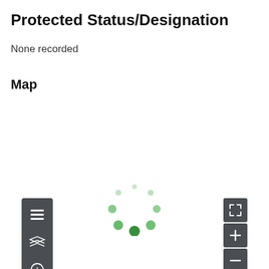Protected Status/Designation
None recorded
Map
[Figure (screenshot): Interactive map panel with a dark grey left toolbar containing list, map layers, info, and settings icons; a right toolbar with fullscreen, zoom-in, and zoom-out buttons; and a loading spinner (green dots in circular arrangement) in the lower center of the map area.]